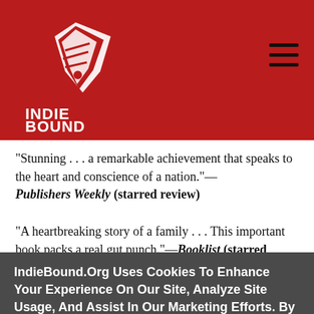[Figure (logo): IndieBound logo: white bird/book graphic with INDIE BOUND text on red background]
“Stunning . . . a remarkable achievement that speaks to the heart and conscience of a nation.”—Publishers Weekly (starred review)
“A heartbreaking story of a family . . . This important book packs a real gut punch.”—Booklist (starred
IndieBound.Org Uses Cookies To Enhance Your Experience On Our Site, Analyze Site Usage, And Assist In Our Marketing Efforts. By Clicking Accept, You Agree To The Storing Of Cookies On Your Device. View Our Cookie Policy.
Give me more info
Accept all Cookies